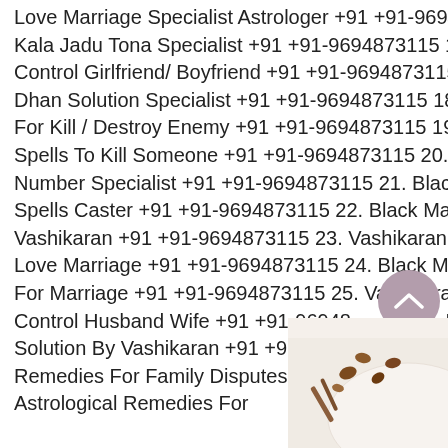Love Marriage Specialist Astrologer +91 +91-9694873115 15. Kala Jadu Tona Specialist +91 +91-9694873115 16. Mantra To Control Girlfriend/ Boyfriend +91 +91-9694873115 17. Gada Dhan Solution Specialist +91 +91-9694873115 18. Died Mantra For Kill / Destroy Enemy +91 +91-9694873115 19. Black Magic Spells To Kill Someone +91 +91-9694873115 20. Lottery Satta Number Specialist +91 +91-9694873115 21. Black Magic Love Spells Caster +91 +91-9694873115 22. Black Magic To Remove Vashikaran +91 +91-9694873115 23. Vashikaran Remedies For Love Marriage +91 +91-9694873115 24. Black Magic Remedies For Marriage +91 +91-9694873115 25. Vashikaran Mantra Control Husband Wife +91 +91-9694873115 26. Love Problem Solution By Vashikaran +91 +91-9694873115 27. Astrological Remedies For Family Disputes +91 +91-9694873115 28. Astrological Remedies For
[Figure (photo): Partial photo of a plate with food items (nuts/spices) visible at bottom right corner]